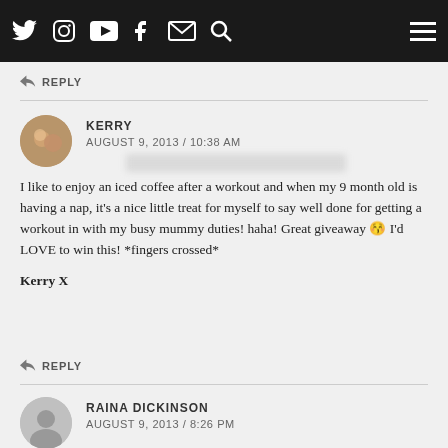Manor Organic Farm, in Long Whatton. they have a new tea room, its the perfect place to enjoy a...ce and coconut slice, any time of the day.
REPLY
KERRY
AUGUST 9, 2013 / 10:38 AM
I like to enjoy an iced coffee after a workout and when my 9 month old is having a nap, it's a nice little treat for myself to say well done for getting a workout in with my busy mummy duties! haha! Great giveaway 😊 I'd LOVE to win this! *fingers crossed*

Kerry X
REPLY
RAINA DICKINSON
AUGUST 9, 2013 / 8:26 PM
I love my Lazy saturday morning coffee from my special mug and gotta love